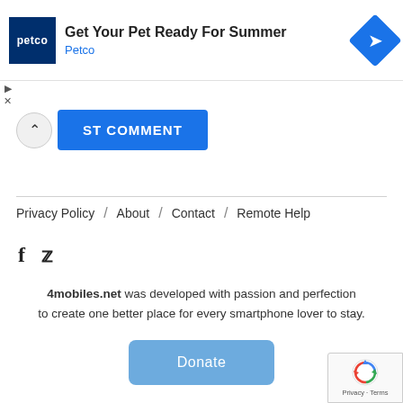[Figure (screenshot): Petco advertisement banner with logo, headline 'Get Your Pet Ready For Summer', subtext 'Petco', and a blue diamond navigation icon on the right.]
ST COMMENT (POST COMMENT button, partially visible)
Privacy Policy / About / Contact / Remote Help
[Figure (other): Social media icons: Facebook 'f' and Twitter bird icon]
4mobiles.net was developed with passion and perfection to create one better place for every smartphone lover to stay.
Donate
[Figure (other): Google reCAPTCHA badge with Privacy and Terms links]